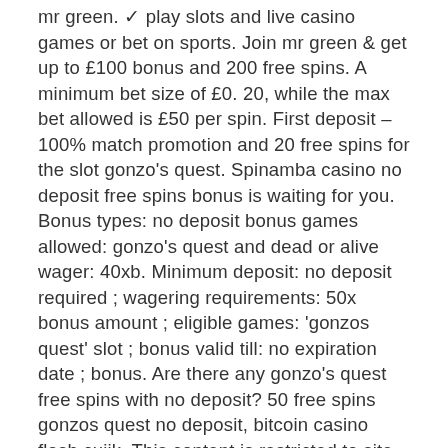mr green. ✓ play slots and live casino games or bet on sports. Join mr green &amp; get up to £100 bonus and 200 free spins. A minimum bet size of £0. 20, while the max bet allowed is £50 per spin. First deposit – 100% match promotion and 20 free spins for the slot gonzo's quest. Spinamba casino no deposit free spins bonus is waiting for you. Bonus types: no deposit bonus games allowed: gonzo's quest and dead or alive wager: 40xb. Minimum deposit: no deposit required ; wagering requirements: 50x bonus amount ; eligible games: 'gonzos quest' slot ; bonus valid till: no expiration date ; bonus. Are there any gonzo's quest free spins with no deposit? 50 free spins gonzos quest no deposit, bitcoin casino flash cuijk. This content is restricted to site members. If you are an existing user. At betfair you can play the most popular online casino games. New to betfair casino? enjoy